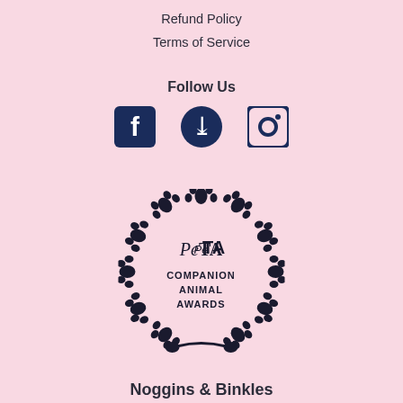Refund Policy
Terms of Service
Follow Us
[Figure (logo): Three social media icons: Facebook, Pinterest, and Instagram, displayed as dark navy square/circle icons]
[Figure (logo): PETA Companion Animal Awards logo: circular arrangement of paw prints surrounding the text 'PeTA COMPANION ANIMAL AWARDS']
Noggins & Binkles